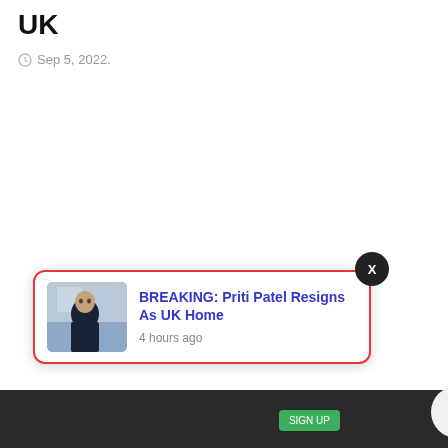UK
Sep 5, 2022.
[Figure (screenshot): Web browser notification popup showing breaking news: 'BREAKING: Priti Patel Resigns As UK Home' with a thumbnail photo of a woman, posted 4 hours ago. There is an X close button above the popup, and a bell icon with badge showing 3 notifications in the bottom right.]